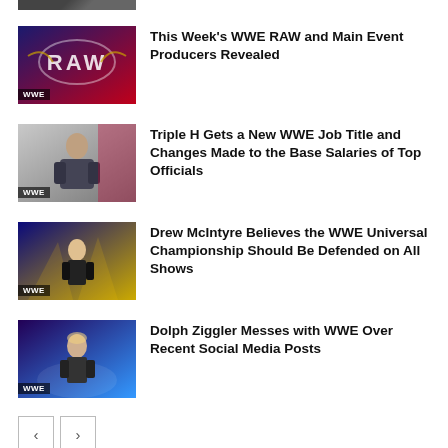[Figure (photo): Partial thumbnail of a WWE article at top of page, cropped]
This Week's WWE RAW and Main Event Producers Revealed
[Figure (photo): WWE RAW logo thumbnail with red and dark blue background, WWE label]
Triple H Gets a New WWE Job Title and Changes Made to the Base Salaries of Top Officials
[Figure (photo): Triple H in suit sitting, WWE label]
Drew McIntyre Believes the WWE Universal Championship Should Be Defended on All Shows
[Figure (photo): Drew McIntyre wrestling event photo, WWE label]
Dolph Ziggler Messes with WWE Over Recent Social Media Posts
[Figure (photo): Dolph Ziggler wrestling event photo, WWE label]